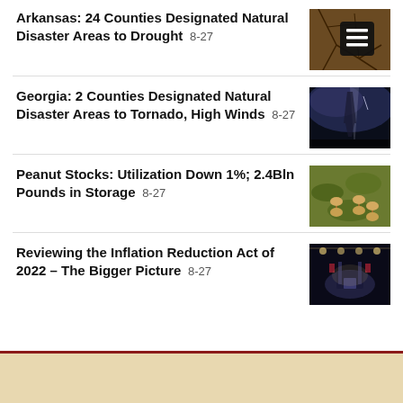Arkansas: 24 Counties Designated Natural Disaster Areas to Drought 8-27
[Figure (photo): Cracked dry earth with hamburger menu icon overlay]
Georgia: 2 Counties Designated Natural Disaster Areas to Tornado, High Winds 8-27
[Figure (photo): Tornado / storm clouds in dark sky]
Peanut Stocks: Utilization Down 1%; 2.4Bln Pounds in Storage 8-27
[Figure (photo): Peanuts growing in a field]
Reviewing the Inflation Reduction Act of 2022 – The Bigger Picture 8-27
[Figure (photo): US Congress chamber interior with lights]